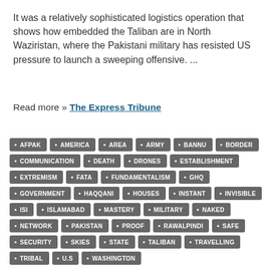It was a relatively sophisticated logistics operation that shows how embedded the Taliban are in North Waziristan, where the Pakistani military has resisted US pressure to launch a sweeping offensive. ...
Read more » The Express Tribune
AFPAK
AMERICA
AREA
ARMY
BANNU
BORDER
COMMUNICATION
DEATH
DRONES
ESTABLISHMENT
EXTREMISM
FATA
FUNDAMENTALISM
GHQ
GOVERNMENT
HAQQANI
HOUSES
INSTANT
INVISIBLE
ISI
ISLAMABAD
MASTERY
MILITARY
NAKED
NETWORK
PAKISTAN
PROOF
RAWALPINDI
SAFE
SECURITY
SKIES
STATE
TALIBAN
TRAVELLING
TRIBAL
U.S
WASHINGTON